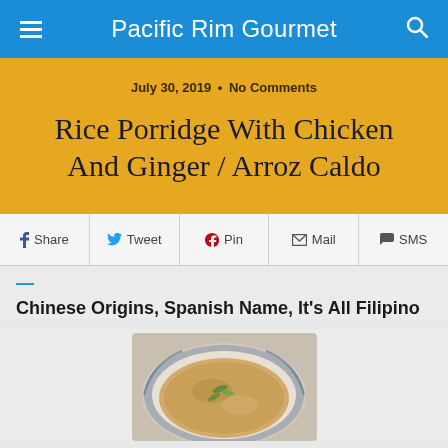Pacific Rim Gourmet
July 30, 2019 • No Comments
Rice Porridge With Chicken And Ginger / Arroz Caldo
Share  Tweet  Pin  Mail  SMS
Chinese Origins, Spanish Name, It's All Filipino
[Figure (photo): A bowl of rice porridge (arroz caldo) with chicken and ginger, garnished with green onions, served in a decorative blue-patterned bowl]